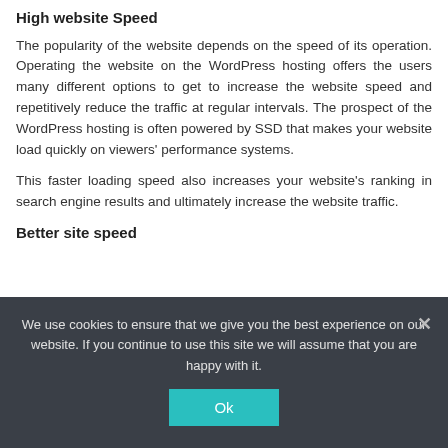High website Speed
The popularity of the website depends on the speed of its operation. Operating the website on the WordPress hosting offers the users many different options to get to increase the website speed and repetitively reduce the traffic at regular intervals. The prospect of the WordPress hosting is often powered by SSD that makes your website load quickly on viewers' performance systems.
This faster loading speed also increases your website's ranking in search engine results and ultimately increase the website traffic.
Better site speed
We use cookies to ensure that we give you the best experience on our website. If you continue to use this site we will assume that you are happy with it.